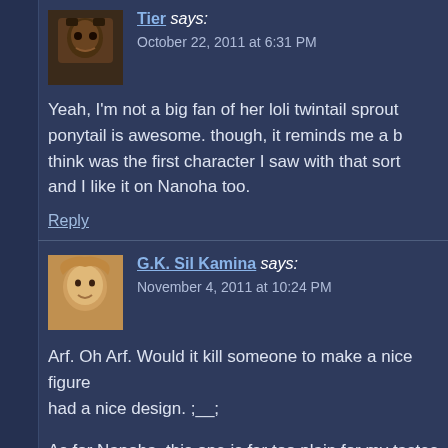Tier says:
October 22, 2011 at 6:31 PM
Yeah, I'm not a big fan of her loli twintail sprout ponytail is awesome. though, it reminds me a b think was the first character I saw with that sort and I like it on Nanoha too.
Reply
G.K. Sil Kamina says:
November 4, 2011 at 10:24 PM
Arf. Oh Arf. Would it kill someone to make a nice figure had a nice design. ;__;
As for Nanoha, this one is far too plain for my tastes. Sh just doesn't get my passion blazing, ya know? It's nice t giving her so many optional parts.